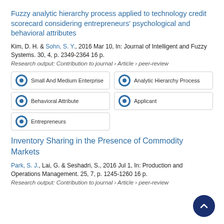Fuzzy analytic hierarchy process applied to technology credit scorecard considering entrepreneurs' psychological and behavioral attributes
Kim, D. H. & Sohn, S. Y., 2016 Mar 10, In: Journal of Intelligent and Fuzzy Systems. 30, 4, p. 2349-2364 16 p.
Research output: Contribution to journal › Article › peer-review
Small And Medium Enterprise
Analytic Hierarchy Process
Behavioral Attribute
Applicant
Entrepreneurs
Inventory Sharing in the Presence of Commodity Markets
Park, S. J., Lai, G. & Seshadri, S., 2016 Jul 1, In: Production and Operations Management. 25, 7, p. 1245-1260 16 p.
Research output: Contribution to journal › Article › peer-review